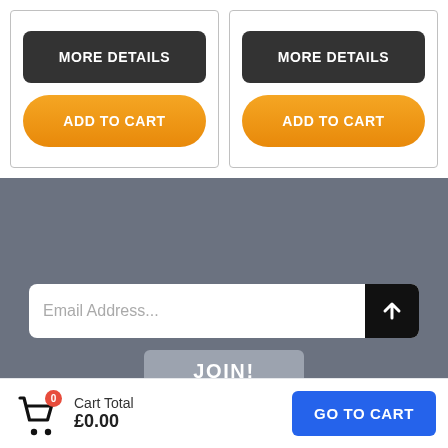[Figure (screenshot): Two product card buttons side by side: dark 'MORE DETAILS' button and orange 'ADD TO CART' button on each card]
Join Our Newsletter!
[Figure (other): Email address input field with black submit arrow button and a JOIN! button below]
Cart Total £0.00
[Figure (other): GO TO CART blue button]